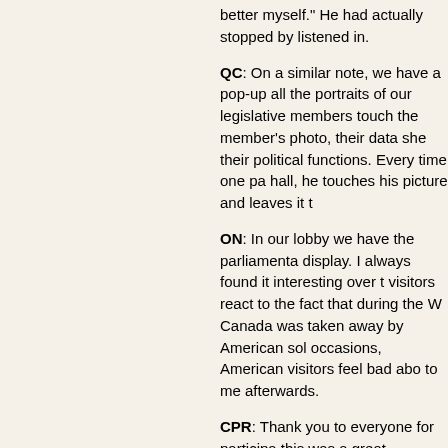better myself." He had actually stopped by listened in.
QC: On a similar note, we have a pop-up all the portraits of our legislative members touch the member's photo, their data she their political functions. Every time one pa hall, he touches his picture and leaves it t
ON: In our lobby we have the parliamenta display. I always found it interesting over t visitors react to the fact that during the W Canada was taken away by American sol occasions, American visitors feel bad abo to me afterwards.
CPR: Thank you to everyone for participa this was a great opportunity to learn abou legislatures and about the Parliament of C wonderful programming that takes place a
PC2: Hearing so much about other legisla interest in coming and visiting next time I' provinces.
To learn more, visit:
British Columbia
https://www.leg.bc.ca/
Manitoba